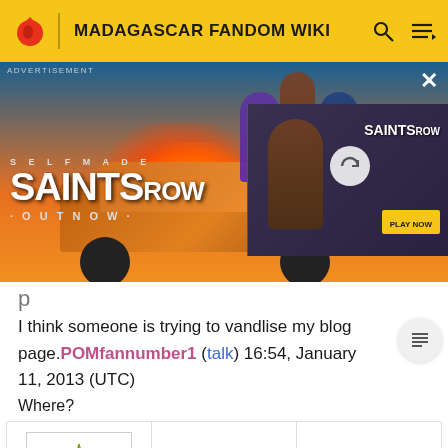MADAGASCAR FANDOM WIKI
[Figure (screenshot): Saints Row video game advertisement banner showing 'SELF MADE SAINTS ROW OUT NOW' with action game art and a secondary video thumbnail panel]
I think someone is trying to vandlise my blog page. POMfannumber1 (talk) 16:54, January 11, 2013 (UTC)
Where?
[Figure (screenshot): User profile section with a gold star/sun badge avatar icon on the left and a grid of empty user info cells on the right]